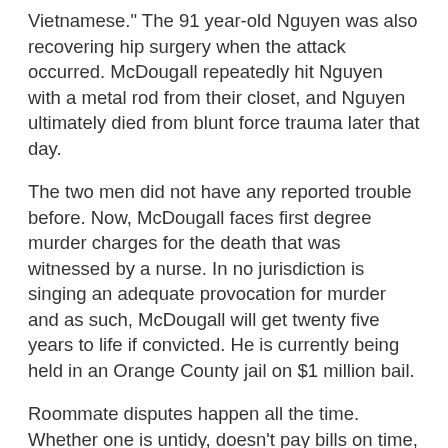Vietnamese." The 91 year-old Nguyen was also recovering hip surgery when the attack occurred. McDougall repeatedly hit Nguyen with a metal rod from their closet, and Nguyen ultimately died from blunt force trauma later that day.
The two men did not have any reported trouble before. Now, McDougall faces first degree murder charges for the death that was witnessed by a nurse. In no jurisdiction is singing an adequate provocation for murder and as such, McDougall will get twenty five years to life if convicted. He is currently being held in an Orange County jail on $1 million bail.
Roommate disputes happen all the time. Whether one is untidy, doesn't pay bills on time, or plays music at all hours of the night, fights should never end in a death. The elderly defendant in this bizarre beating broke the law in the most serious way possible, but this case begs the question: what's the point of locking up an 81 year-old defendant? Perhaps justice is better served letting William McDougall undergo